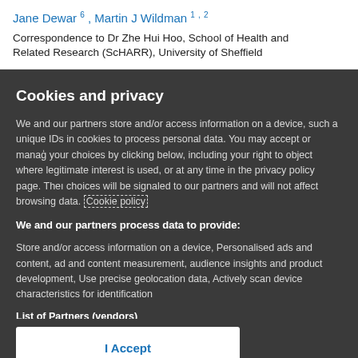Jane Dewar 6 , Martin J Wildman 1 , 2
Correspondence to Dr Zhe Hui Hoo, School of Health and Related Research (ScHARR), University of Sheffield
Cookies and privacy
We and our partners store and/or access information on a device, such as unique IDs in cookies to process personal data. You may accept or manage your choices by clicking below, including your right to object where legitimate interest is used, or at any time in the privacy policy page. These choices will be signaled to our partners and will not affect browsing data. Cookie policy
We and our partners process data to provide:
Store and/or access information on a device, Personalised ads and content, ad and content measurement, audience insights and product development, Use precise geolocation data, Actively scan device characteristics for identification
List of Partners (vendors)
I Accept